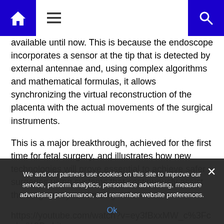Navigation bar with home icon, menu icon, and search icon
available until now. This is because the endoscope incorporates a sensor at the tip that is detected by external antennae and, using complex algorithms and mathematical formulas, it allows synchronizing the virtual reconstruction of the placenta with the actual movements of the surgical instruments.
This is a major breakthrough, achieved for the first time for fetal surgery, and illustrates how new technologies will prove essential to achieve safer surgeries using systems that continuously assist the surgeon by minimizing risks
https://youtube.com/watch?v=ey3fBxxMW_c%3Fcolor%3Dwhite
We and our partners use cookies on this site to improve our service, perform analytics, personalize advertising, measure advertising performance, and remember website preferences.
Ok